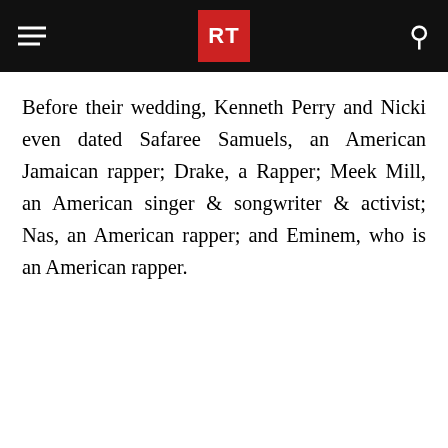RT
Before their wedding, Kenneth Perry and Nicki even dated Safaree Samuels, an American Jamaican rapper; Drake, a Rapper; Meek Mill, an American singer & songwriter & activist; Nas, an American rapper; and Eminem, who is an American rapper.